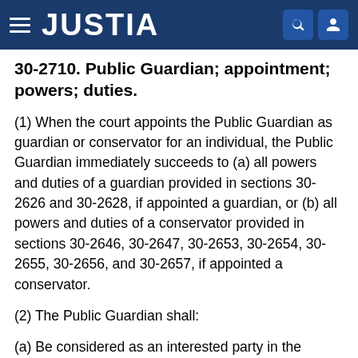JUSTIA
30-2710. Public Guardian; appointment; powers; duties.
(1) When the court appoints the Public Guardian as guardian or conservator for an individual, the Public Guardian immediately succeeds to (a) all powers and duties of a guardian provided in sections 30-2626 and 30-2628, if appointed a guardian, or (b) all powers and duties of a conservator provided in sections 30-2646, 30-2647, 30-2653, 30-2654, 30-2655, 30-2656, and 30-2657, if appointed a conservator.
(2) The Public Guardian shall:
(a) Be considered as an interested party in the welfare of the ward or protected person to which the Public Guardian is nominated. If the office is unable to accept the nomination due to its caseload or the status of its